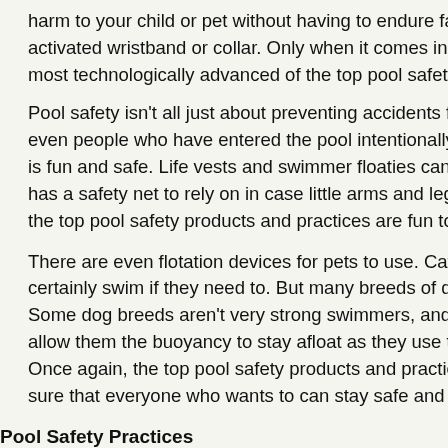harm to your child or pet without having to endure false activated wristband or collar. Only when it comes in con most technologically advanced of the top pool safety pr
Pool safety isn't all just about preventing accidents for p even people who have entered the pool intentionally ne is fun and safe. Life vests and swimmer floaties can hel has a safety net to rely on in case little arms and legs g the top pool safety products and practices are fun to us
There are even flotation devices for pets to use. Cats ty certainly swim if they need to. But many breeds of dogs Some dog breeds aren't very strong swimmers, and so allow them the buoyancy to stay afloat as they use thei Once again, the top pool safety products and practices sure that everyone who wants to can stay safe and still
Pool Safety Practices
Pool safety isn't just about drowning and preventing acc accidental illness or injury. One of the easiest to find an practices is a pool water meter. You can measure the ch